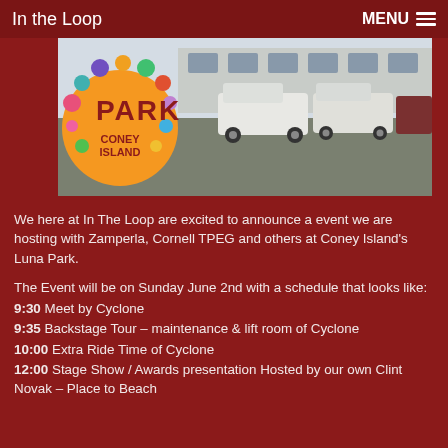In the Loop | MENU
[Figure (photo): Photo of Luna Park Coney Island sign on the left with colorful circle decorations, and a parking lot with vehicles on the right]
We here at In The Loop are excited to announce a event we are hosting with Zamperla, Cornell TPEG and others at Coney Island's Luna Park.
The Event will be on Sunday June 2nd with a schedule that looks like:
9:30 Meet by Cyclone
9:35 Backstage Tour – maintenance & lift room of Cyclone
10:00 Extra Ride Time of Cyclone
12:00 Stage Show / Awards presentation Hosted by our own Clint Novak – Place to Beach